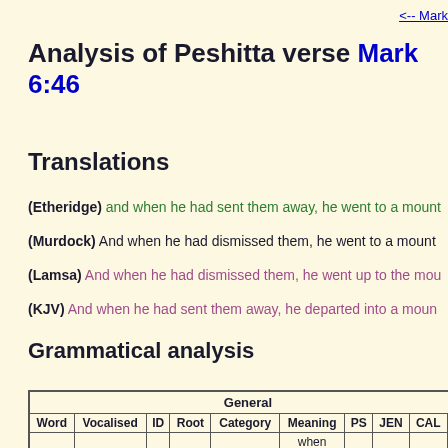<-- Mark
Analysis of Peshitta verse Mark 6:46
Translations
(Etheridge) and when he had sent them away, he went to a mount
(Murdock) And when he had dismissed them, he went to a mount
(Lamsa) And when he had dismissed them, he went up to the mou
(KJV) And when he had sent them away, he departed into a moun
Grammatical analysis
| Word | Vocalised | ID | Root | Category | Meaning | PS | JEN | CAL | P |
| --- | --- | --- | --- | --- | --- | --- | --- | --- | --- |
|  |  |  |  |  |  |  |  |  |  |